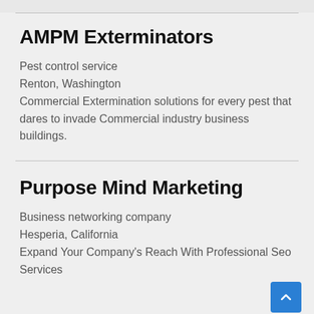AMPM Exterminators
Pest control service
Renton, Washington
Commercial Extermination solutions for every pest that dares to invade Commercial industry business buildings.
Purpose Mind Marketing
Business networking company
Hesperia, California
Expand Your Company's Reach With Professional Seo Services